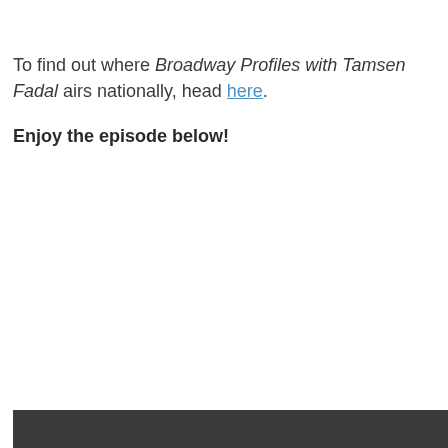To find out where Broadway Profiles with Tamsen Fadal airs nationally, head here.
Enjoy the episode below!